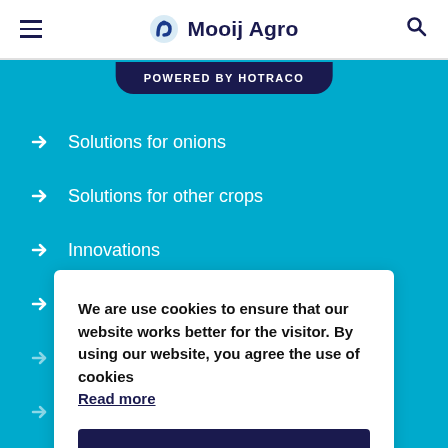Mooij Agro
POWERED BY HOTRACO
Solutions for onions
Solutions for other crops
Innovations
About Mooij Agro
We are use cookies to ensure that our website works better for the visitor. By using our website, you agree the use of cookies Read more
I agree